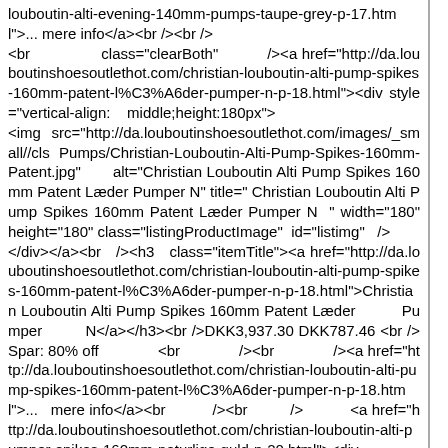louboutin-alti-evening-140mm-pumps-taupe-grey-p-17.html">... mere info</a><br /><br />
<br                class="clearBoth"           /><a href="http://da.louboutinshoesoutlethot.com/christian-louboutin-alti-pump-spikes-160mm-patent-l%C3%A6der-pumper-n-p-18.html"><div style="vertical-align:    middle;height:180px">
<img src="http://da.louboutinshoesoutlethot.com/images/_small//cls Pumps/Christian-Louboutin-Alti-Pump-Spikes-160mm-Patent.jpg"       alt="Christian Louboutin Alti Pump Spikes 160mm Patent Læder Pumper N" title=" Christian Louboutin Alti Pump Spikes 160mm Patent Læder Pumper N  " width="180"    height="180" class="listingProductImage"  id="listimg"   />
</div></a><br   /><h3   class="itemTitle"><a href="http://da.louboutinshoesoutlethot.com/christian-louboutin-alti-pump-spikes-160mm-patent-l%C3%A6der-pumper-n-p-18.html">Christian Louboutin Alti Pump Spikes 160mm Patent Læder          Pumper         N</a></h3><br />DKK3,937.30 DKK787.46 <br />Spar: 80% off              <br              /><br              /><a href="http://da.louboutinshoesoutlethot.com/christian-louboutin-alti-pump-spikes-160mm-patent-l%C3%A6der-pumper-n-p-18.html">...   mere info</a><br           /><br          />           <a href="http://da.louboutinshoesoutlethot.com/christian-louboutin-alti-pumper-spikes-160mm-naturlige-guld-p-20.html"><div